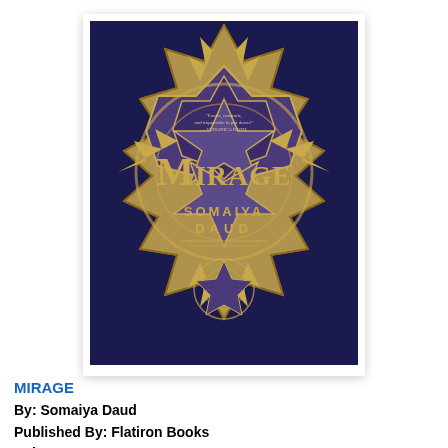[Figure (illustration): Book cover of 'Mirage' by Somaiya Daud, featuring an ornate dark navy background with elaborate gold and purple geometric mandala/star pattern, with the title 'Mirage' in large gold gothic lettering and author name 'Somaiya Daud' below it. A blurb quote appears at the top center of the cover art.]
MIRAGE
By: Somaiya Daud
Published By: Flatiron Books
Release Date: August 28, 2018